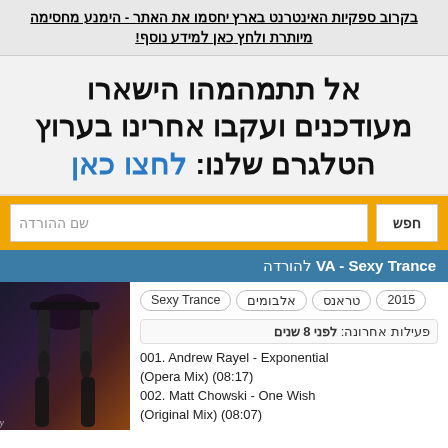בקרוב ספקיות האינטרנט בארץ יחסמו את האתר - הימנע מחסימה מיותרת ולחץ כאן למידע נוסף!
אל תתמהמהו הישארו מעודכנים ועקבו אחרינו בערוץ הטלגרם שלנו: לחצו כאן
שם ההורדה | חפש
VA - Sexy Trance להורדה
Sexy Trance | אלבומים | טראנס | 2015
פעילות אחרונה: לפני 8 שנים
001. Andrew Rayel - Exponential (Opera Mix) (08:17)
002. Matt Chowski - One Wish (Original Mix) (08:07)